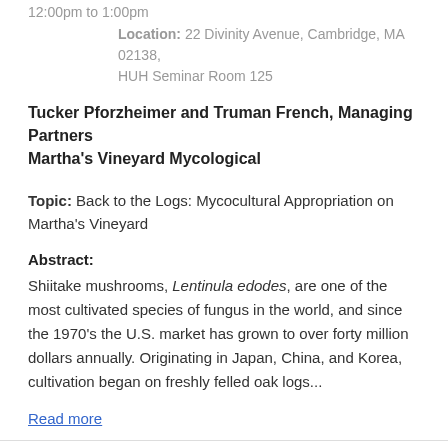12:00pm to 1:00pm
Location: 22 Divinity Avenue, Cambridge, MA 02138, HUH Seminar Room 125
Tucker Pforzheimer and Truman French, Managing Partners Martha's Vineyard Mycological
Topic: Back to the Logs: Mycocultural Appropriation on Martha's Vineyard
Abstract:
Shiitake mushrooms, Lentinula edodes, are one of the most cultivated species of fungus in the world, and since the 1970's the U.S. market has grown to over forty million dollars annually. Originating in Japan, China, and Korea, cultivation began on freshly felled oak logs...
Read more